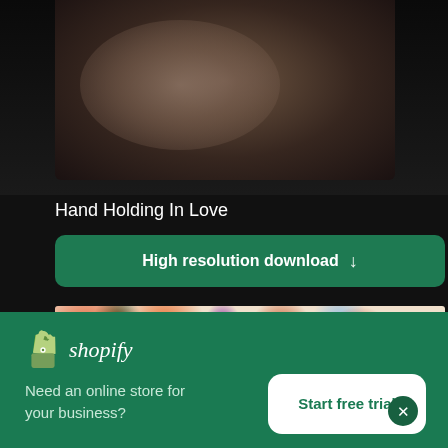[Figure (photo): Blurred dark background photo, appears to show a person's hand or torso in low light]
Hand Holding In Love
High resolution download ↓
[Figure (photo): Colorful floral pattern with orange, red, blue, purple flowers on white background]
[Figure (logo): Shopify logo — shopping bag icon with 'shopify' in italic text]
Need an online store for your business?
Start free trial